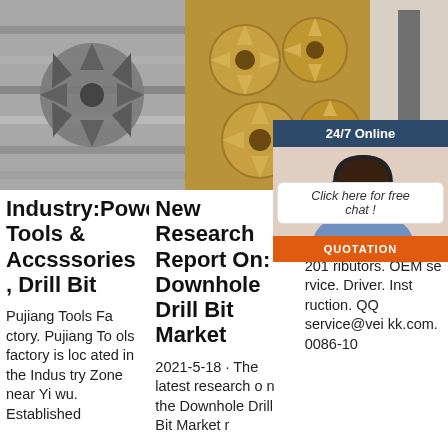[Figure (photo): Black and white photo of a metal drill bit tool]
[Figure (photo): Group of golden/bronze downhole drill bits arranged together]
[Figure (photo): Single drill bit tool on light background with 24/7 Online chat widget overlay showing woman with headset]
Industry:Power Tools & Accsssories , Drill Bit
New Research Report On: Downhole Drill Bit Market
DF... Ele... Op... Ha...
Pujiang Tools Factory. Pujiang Tools factory is located in the Industry Zone near Yiwu. Established
2021-5-18 · The latest research on the Downhole Drill Bit Market r
201... ributors. OEM service. Driver. Instruction. QQ. service@veikk.com. 0086-10